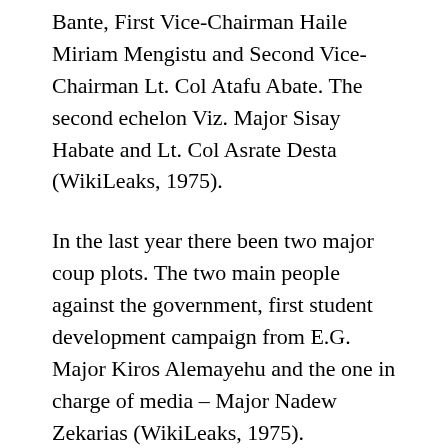Bante, First Vice-Chairman Haile Miriam Mengistu and Second Vice-Chairman Lt. Col Atafu Abate. The second echelon Viz. Major Sisay Habate and Lt. Col Asrate Desta (WikiLeaks, 1975).
In the last year there been two major coup plots. The two main people against the government, first student development campaign from E.G. Major Kiros Alemayehu and the one in charge of media – Major Nadew Zekarias (WikiLeaks, 1975).
The Derg has struggled with price-control and minerals exploration (financial restraint).The government has been civilian administration compared to...